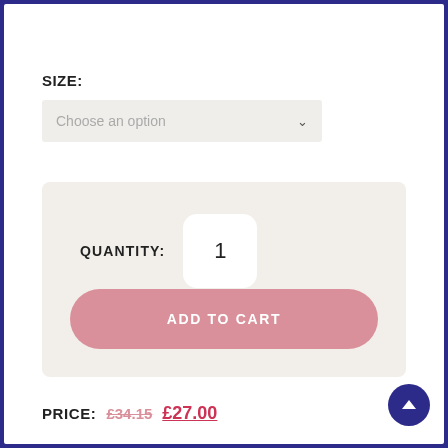SIZE:
Choose an option
QUANTITY: 1
ADD TO CART
PRICE: £34.15 £27.00